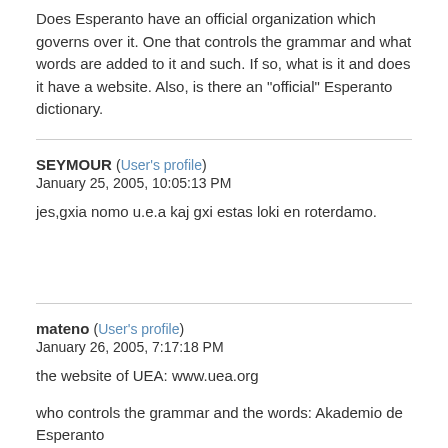Does Esperanto have an official organization which governs over it. One that controls the grammar and what words are added to it and such. If so, what is it and does it have a website. Also, is there an "official" Esperanto dictionary.
SEYMOUR (User's profile)
January 25, 2005, 10:05:13 PM
jes,gxia nomo u.e.a kaj gxi estas loki en roterdamo.
mateno (User's profile)
January 26, 2005, 7:17:18 PM
the website of UEA: www.uea.org
who controls the grammar and the words: Akademio de Esperanto
(the most) official dictionary of Esperanto: it is called PIV (Plena